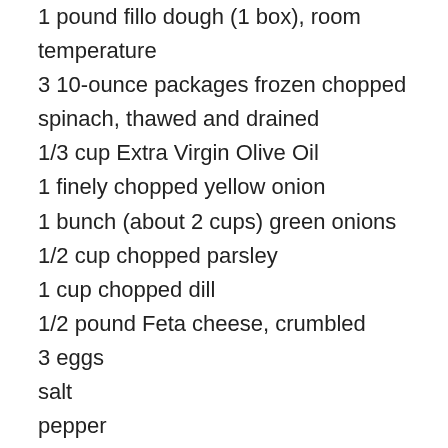1 pound fillo dough (1 box), room temperature
3 10-ounce packages frozen chopped spinach, thawed and drained
1/3 cup Extra Virgin Olive Oil
1 finely chopped yellow onion
1 bunch (about 2 cups) green onions
1/2 cup chopped parsley
1 cup chopped dill
1/2 pound Feta cheese, crumbled
3 eggs
salt
pepper
3 sticks butter
Directions:
1. Preheat oven to 350. Take fillo out of the fridge to let it